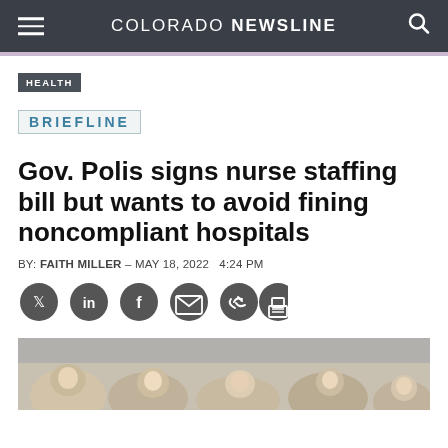COLORADO NEWSLINE
HEALTH
BRIEFLINE
Gov. Polis signs nurse staffing bill but wants to avoid fining noncompliant hospitals
BY: FAITH MILLER - MAY 18, 2022  4:24 PM
[Figure (infographic): Social sharing icons: Twitter, LinkedIn, Facebook, Email, Link, Print]
[Figure (photo): Crowd of people at an outdoor gathering or event]